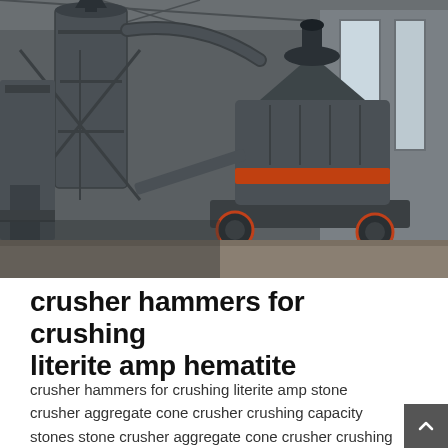[Figure (photo): Industrial facility interior showing large cone crusher and vertical mill equipment. Dark machinery including a cone crusher with orange accent ring, conveyor structures, and a large cylindrical vertical mill/cyclone, set inside a warehouse with natural light from windows.]
crusher hammers for crushing literite amp hematite
crusher hammers for crushing literite amp stone crusher aggregate cone crusher crushing capacity stones stone crusher aggregate cone crusher crushing capacity stones cone crusher ...